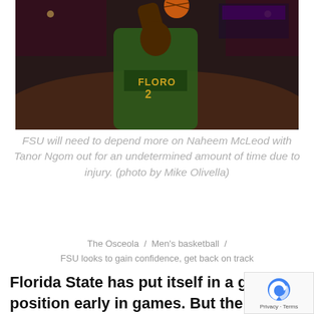[Figure (photo): Basketball player wearing Florida State (FLORO) jersey dunking a basketball in an indoor arena]
FSU will need to depend more on Naheem McLeod with Tanor Ngom out for an undetermined amount of time due to injury. (photo by Mike Olivella)
The Osceola / Men's basketball / FSU looks to gain confidence, get back on track
Florida State has put itself in a good position early in games. But the Semin have not been able to sustain that